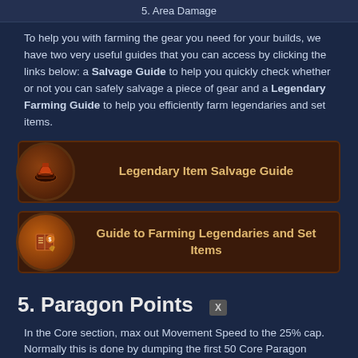5. Area Damage
To help you with farming the gear you need for your builds, we have two very useful guides that you can access by clicking the links below: a Salvage Guide to help you quickly check whether or not you can safely salvage a piece of gear and a Legendary Farming Guide to help you efficiently farm legendaries and set items.
[Figure (other): Button with anvil icon linking to Legendary Item Salvage Guide]
[Figure (other): Button with book icon linking to Guide to Farming Legendaries and Set Items]
5. Paragon Points
In the Core section, max out Movement Speed to the 25% cap. Normally this is done by dumping the first 50 Core Paragon points